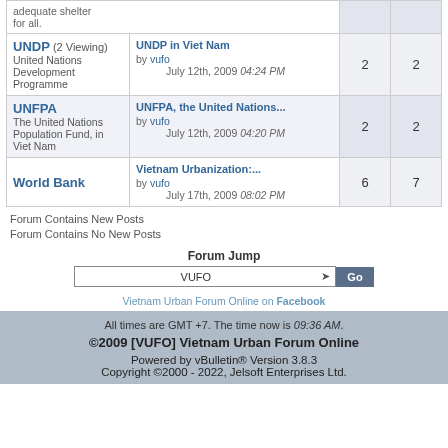| Forum | Last Post | Threads | Posts |
| --- | --- | --- | --- |
| adequate shelter for all. |  |  |  |
| UNDP (2 Viewing) United Nations Development Programme | UNDP in Viet Nam by vufo July 12th, 2009 04:24 PM | 2 | 2 |
| UNFPA The United Nations Population Fund, in Viet Nam | UNFPA, the United Nations... by vufo July 12th, 2009 04:20 PM | 2 | 2 |
| World Bank | Vietnam Urbanization:... by vufo July 17th, 2009 08:02 PM | 6 | 7 |
Forum Contains New Posts
Forum Contains No New Posts
Forum Jump
VUFO
Vietnam Urban Forum Online on Facebook
All times are GMT +7. The time now is 09:36 AM.
©2009 [VUFO] Vietnam Urban Forum Online
Powered by vBulletin® Version 3.8.3
Copyright ©2000 - 2022, Jelsoft Enterprises Ltd.